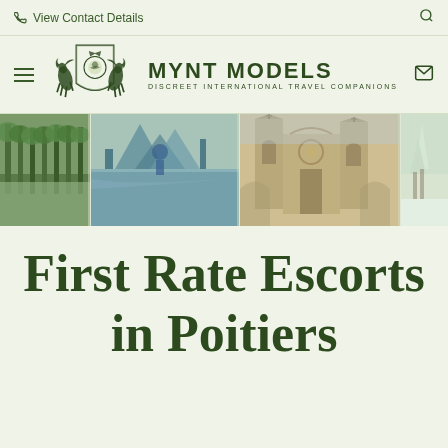View Contact Details
[Figure (logo): Mynt Models logo with two pegasus/horse figures flanking a crest shield, with text MYNT MODELS and tagline DISCREET INTERNATIONAL TRAVEL COMPANIONS]
[Figure (photo): Panoramic banner showing multiple photos of Poitiers: tree-lined avenue, modern sculpture/architecture with water reflection, Gothic church facade, and snowy forest scene]
First Rate Escorts in Poitiers